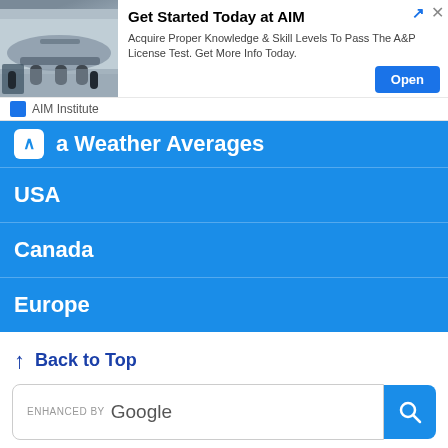[Figure (infographic): Advertisement banner for AIM Institute with airplane undercarriage photo, headline 'Get Started Today at AIM', body text about A&P License Test, and an Open button]
Get Started Today at AIM
Acquire Proper Knowledge & Skill Levels To Pass The A&P License Test. Get More Info Today.
AIM Institute
a Weather Averages
USA
Canada
Europe
↑  Back to Top
[Figure (screenshot): Google enhanced search bar with search icon button]
Home | Privacy & Cookies | Contact | About
Copyright © 2022 Current Results Publishing Ltd.